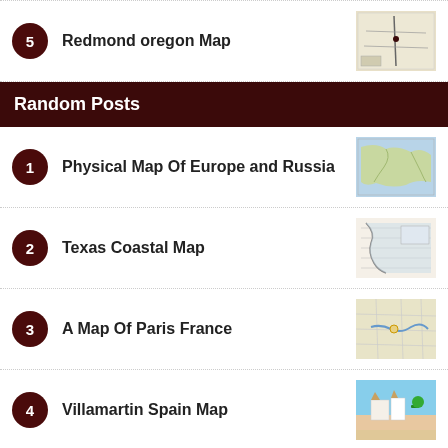5 Redmond oregon Map
Random Posts
1 Physical Map Of Europe and Russia
2 Texas Coastal Map
3 A Map Of Paris France
4 Villamartin Spain Map
5 Map Of Croatia and Italy